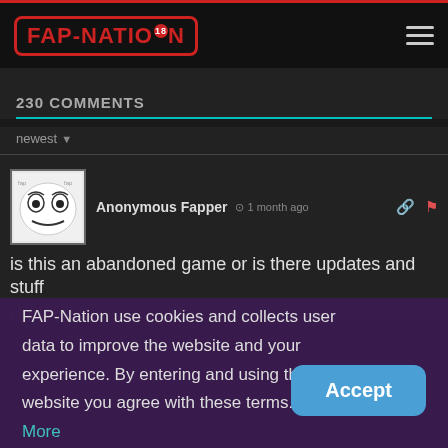FAP-NATION 18
230 COMMENTS
newest
Anonymous Fapper · 1 month ago
is this an abandoned game or is there updates and stuff elsewhere?
FAP-Nation use cookies and collects user data to improve the website and your experience. By entering and using the website you agree with these terms. Learn More